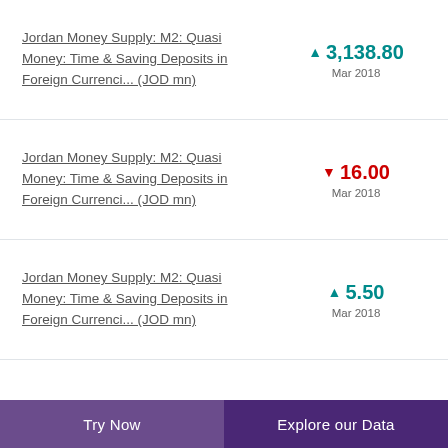Jordan Money Supply: M2: Quasi Money: Time & Saving Deposits in Foreign Currenci... (JOD mn) ▲ 3,138.80 Mar 2018
Jordan Money Supply: M2: Quasi Money: Time & Saving Deposits in Foreign Currenci... (JOD mn) ▼ 16.00 Mar 2018
Jordan Money Supply: M2: Quasi Money: Time & Saving Deposits in Foreign Currenci... (JOD mn) ▲ 5.50 Mar 2018
Try Now   Explore our Data